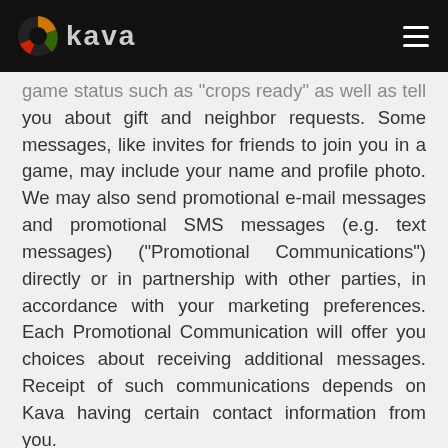Kava
game status such as "crops ready" as well as tell you about gift and neighbor requests. Some messages, like invites for friends to join you in a game, may include your name and profile photo. We may also send promotional e-mail messages and promotional SMS messages (e.g. text messages) ("Promotional Communications") directly or in partnership with other parties, in accordance with your marketing preferences. Each Promotional Communication will offer you choices about receiving additional messages. Receipt of such communications depends on Kava having certain contact information from you.
4